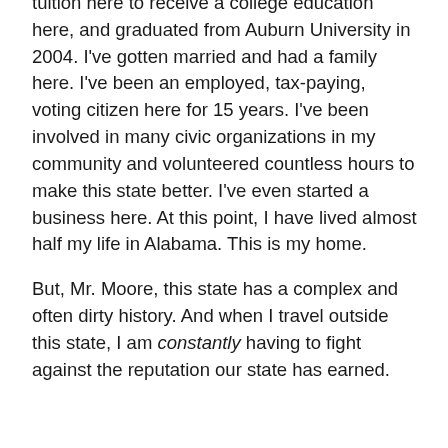tuition here to receive a college education here, and graduated from Auburn University in 2004. I've gotten married and had a family here. I've been an employed, tax-paying, voting citizen here for 15 years. I've been involved in many civic organizations in my community and volunteered countless hours to make this state better. I've even started a business here. At this point, I have lived almost half my life in Alabama. This is my home.
But, Mr. Moore, this state has a complex and often dirty history. And when I travel outside this state, I am constantly having to fight against the reputation our state has earned.